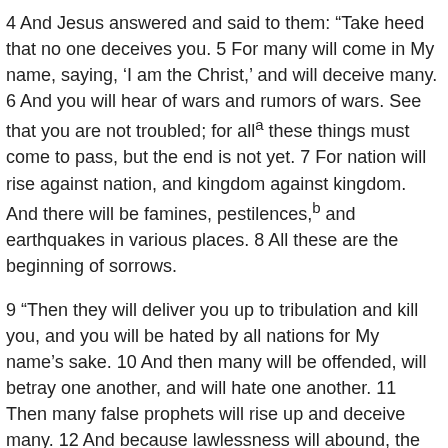4 And Jesus answered and said to them: “Take heed that no one deceives you. 5 For many will come in My name, saying, ‘I am the Christ,’ and will deceive many. 6 And you will hear of wars and rumors of wars. See that you are not troubled; for all[a] these things must come to pass, but the end is not yet. 7 For nation will rise against nation, and kingdom against kingdom. And there will be famines, pestilences,[b] and earthquakes in various places. 8 All these are the beginning of sorrows.
9 “Then they will deliver you up to tribulation and kill you, and you will be hated by all nations for My name’s sake. 10 And then many will be offended, will betray one another, and will hate one another. 11 Then many false prophets will rise up and deceive many. 12 And because lawlessness will abound, the love of many will grow cold. 13 But he who endures to the end shall be saved. 14 And this gospel of the kingdom will be preached in all the world as a witness to all the nations, and then the end will come.